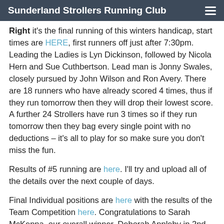Sunderland Strollers Running Club
Right it's the final running of this winters handicap, start times are HERE, first runners off just after 7:30pm. Leading the Ladies is Lyn Dickinson, followed by Nicola Hern and Sue Cuthbertson. Lead man is Jonny Swales, closely pursued by John Wilson and Ron Avery. There are 18 runners who have already scored 4 times, thus if they run tomorrow then they will drop their lowest score. A further 24 Strollers have run 3 times so if they run tomorrow then they bag every single point with no deductions – it's all to play for so make sure you don't miss the fun.
Results of #5 running are here. I'll try and upload all of the details over the next couple of days.
Final Individual positions are here with the results of the Team Competition here. Congratulations to Sarah McKenna, our overall winner, Deborah Appleby in 2nd and Lynn Dickinson in 3rd. First male (and 4th overall) was Terry Topping with John Wilson and Ron Avery in the other podium positions. Winning team was the Three Unwise Men (Terry Topping, Rob Ayre & Andrew Bell).